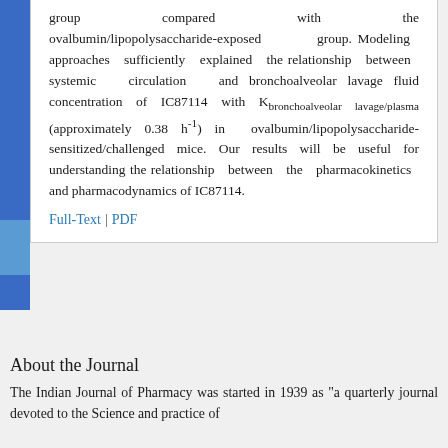group compared with the ovalbumin/lipopolysaccharide-exposed group. Modeling approaches sufficiently explained the relationship between systemic circulation and bronchoalveolar lavage fluid concentration of IC87114 with K_bronchoalveolar lavage/plasma (approximately 0.38 h-1) in ovalbumin/lipopolysaccharide-sensitized/challenged mice. Our results will be useful for understanding the relationship between the pharmacokinetics and pharmacodynamics of IC87114.
Full-Text | PDF
About the Journal
The Indian Journal of Pharmacy was started in 1939 as "a quarterly journal devoted to the Science and practice of